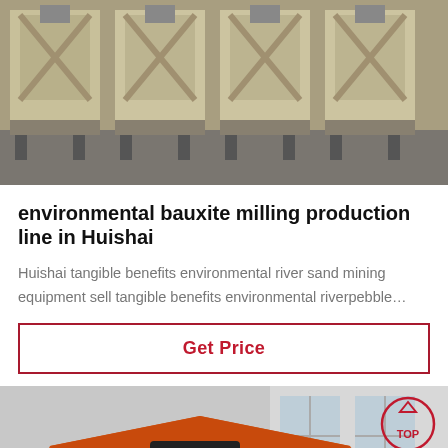[Figure (photo): Industrial milling machines in beige/cream color, heavy equipment on concrete floor in factory/outdoor setting]
environmental bauxite milling production line in Huishai
Huishai tangible benefits environmental river sand mining equipment sell tangible benefits environmental riverpebble…
Get Price
[Figure (photo): Large orange industrial crusher/impact crusher machine in factory setting with windows in background, TOP navigation button visible in upper right]